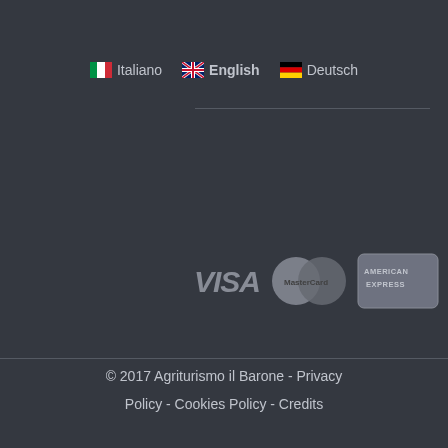🇮🇹 Italiano  🇬🇧 English  🇩🇪 Deutsch
[Figure (logo): Payment method logos: VISA, MasterCard, American Express]
[Figure (logo): Facebook social media icon]
© 2017 Agriturismo il Barone - Privacy Policy - Cookies Policy - Credits